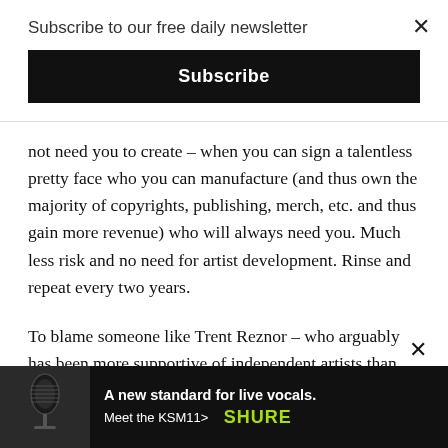Subscribe to our free daily newsletter
Subscribe
not need you to create – when you can sign a talentless pretty face who you can manufacture (and thus own the majority of copyrights, publishing, merch, etc. and thus gain more revenue) who will always need you. Much less risk and no need for artist development. Rinse and repeat every two years.
To blame someone like Trent Reznor – who arguably has been more supportive of independent artists than most who lament about the state of the music industry (I'm looking at you Dave Grohl and Joe Walsh) while doing nothing to help young artists they so woefully complain aren't being given a chance. He's doing what's best for Trent R... some ... on
[Figure (infographic): Advertisement banner for Shure KSM11 microphone: black background with microphone image on left, text 'A new standard for live vocals. Meet the KSM11>' in white, and SHURE logo in green on right.]